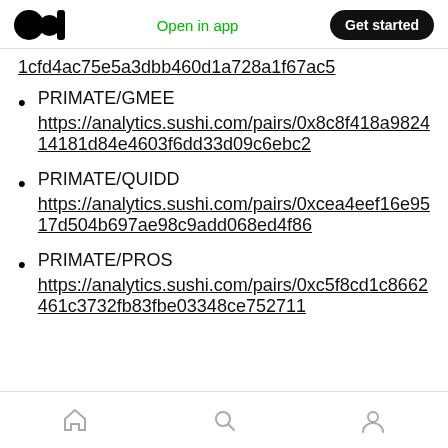Medium — Open in app | Get started
1cfd4ac75e5a3dbb460d1a728a1f67ac5
PRIMATE/GMEE
https://analytics.sushi.com/pairs/0x8c8f418a982414181d84e4603f6dd33d09c6ebc2
PRIMATE/QUIDD
https://analytics.sushi.com/pairs/0xcea4eef16e9517d504b697ae98c9add068ed4f86
PRIMATE/PROS
https://analytics.sushi.com/pairs/0xc5f8cd1c8662461c3732fb83fbe03348ce752711
Home | Search | Profile